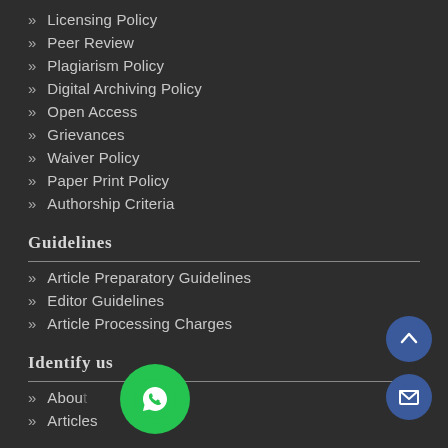Licensing Policy
Peer Review
Plagiarism Policy
Digital Archiving Policy
Open Access
Grievances
Waiver Policy
Paper Print Policy
Authorship Criteria
Guidelines
Article Preparatory Guidelines
Editor Guidelines
Article Processing Charges
Identify us
About
Articles
[Figure (illustration): WhatsApp floating action button (green circle with white phone icon)]
[Figure (illustration): Scroll-to-top floating button (blue circle with white chevron up icon)]
[Figure (illustration): Email floating button (blue circle with white envelope icon)]